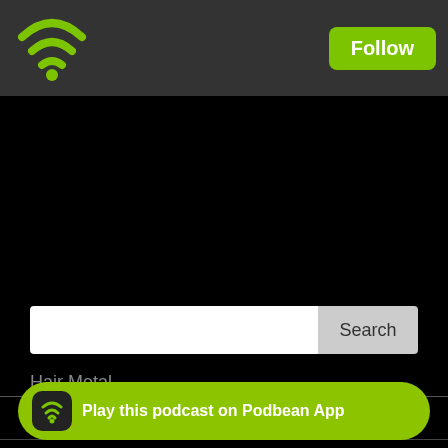[Figure (logo): Green WiFi/podcast icon on dark gray top bar]
Follow
[Figure (screenshot): Dark background image area below top bar]
Search
Hair Metal
All Good Things
Blood of Kings
Couch Potato Theater
Culture Clash
DiscoVille
Play this podcast on Podbean App